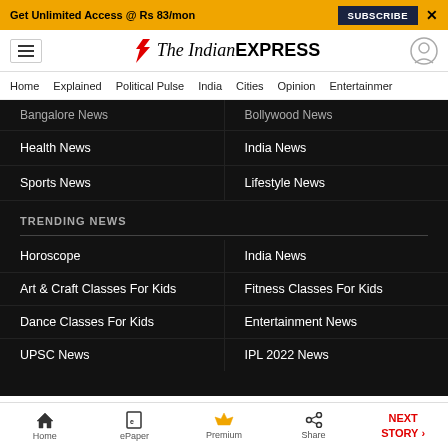Get Unlimited Access @ Rs 83/mon  SUBSCRIBE  X
[Figure (logo): The Indian Express logo with flame icon, hamburger menu, and user icon]
Home  Explained  Political Pulse  India  Cities  Opinion  Entertainment
Bangalore News
Bollywood News
Health News
India News
Sports News
Lifestyle News
TRENDING NEWS
Horoscope
India News
Art & Craft Classes For Kids
Fitness Classes For Kids
Dance Classes For Kids
Entertainment News
UPSC News
IPL 2022 News
Home  ePaper  Premium  Share  NEXT STORY